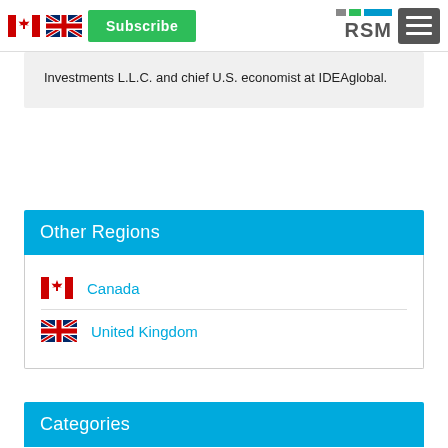RSM - Subscribe - Canada - United Kingdom - Global Economic Navigator
Investments L.L.C. and chief U.S. economist at IDEAglobal.
Other Regions
Canada
United Kingdom
Categories